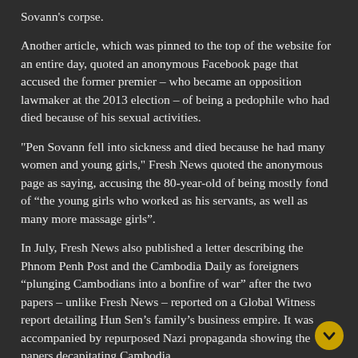Sovann's corpse.
Another article, which was pinned to the top of the website for an entire day, quoted an anonymous Facebook page that accused the former premier – who became an opposition lawmaker at the 2013 election – of being a pedophile who had died because of his sexual activities.
"Pen Sovann fell into sickness and died because he had many women and young girls," Fresh News quoted the anonymous page as saying, accusing the 80-year-old of being mostly fond of “the young girls who worked as his servants, as well as many more massage girls”.
In July, Fresh News also published a letter describing the Phnom Penh Post and the Cambodia Daily as foreigners “plunging Cambodians into a bonfire of war” after the two papers – unlike Fresh News – reported on a Global Witness report detailing Hun Sen’s family’s business empire. It was accompanied by repurposed Nazi propaganda showing the papers decapitating Cambodia.
Four months before, it had become the main news site pushing out dozens of recordings allegedly of deputy opposition Kem